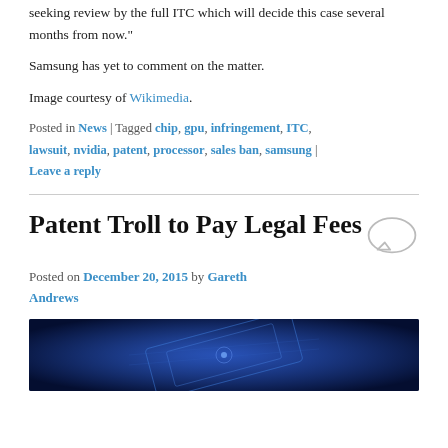seeking review by the full ITC which will decide this case several months from now."
Samsung has yet to comment on the matter.
Image courtesy of Wikimedia.
Posted in News | Tagged chip, gpu, infringement, ITC, lawsuit, nvidia, patent, processor, sales ban, samsung | Leave a reply
Patent Troll to Pay Legal Fees
Posted on December 20, 2015 by Gareth Andrews
[Figure (photo): Dark blue glowing circuit board / chip illustration]